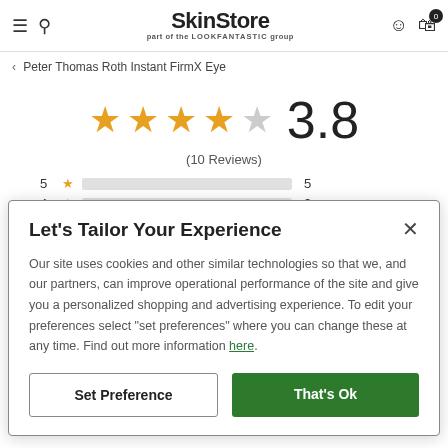SkinStore — part of the LOOKFANTASTIC group
< Peter Thomas Roth Instant FirmX Eye
[Figure (other): Star rating display showing 4 filled orange stars and 1 empty star with rating 3.8 and (10 Reviews)]
5 ★ [bar] 5
4 ★ [bar] 2
Let's Tailor Your Experience
Our site uses cookies and other similar technologies so that we, and our partners, can improve operational performance of the site and give you a personalized shopping and advertising experience. To edit your preferences select "set preferences" where you can change these at any time. Find out more information here.
Set Preference | That's Ok